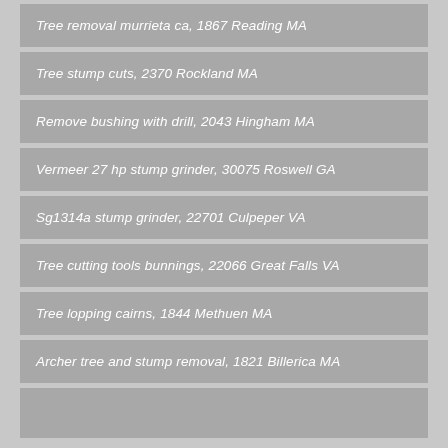Tree removal murrieta ca, 1867 Reading MA
Tree stump cuts, 2370 Rockland MA
Remove bushing with drill, 2043 Hingham MA
Vermeer 27 hp stump grinder, 30075 Roswell GA
Sg1314a stump grinder, 22701 Culpeper VA
Tree cutting tools bunnings, 22066 Great Falls VA
Tree lopping cairns, 1844 Methuen MA
Archer tree and stump removal, 1821 Billerica MA